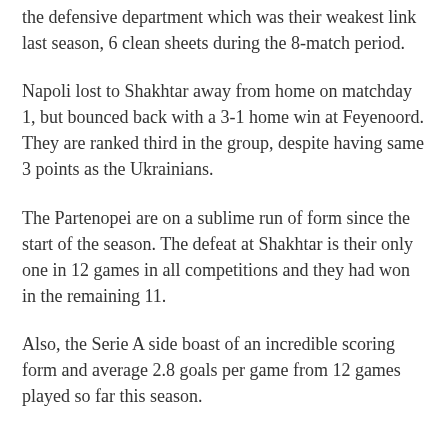the defensive department which was their weakest link last season, 6 clean sheets during the 8-match period.
Napoli lost to Shakhtar away from home on matchday 1, but bounced back with a 3-1 home win at Feyenoord. They are ranked third in the group, despite having same 3 points as the Ukrainians.
The Partenopei are on a sublime run of form since the start of the season. The defeat at Shakhtar is their only one in 12 games in all competitions and they had won in the remaining 11.
Also, the Serie A side boast of an incredible scoring form and average 2.8 goals per game from 12 games played so far this season.